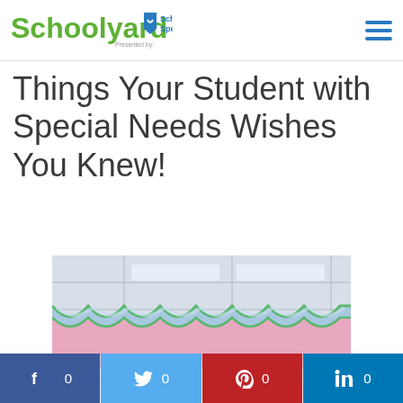Schoolyard Presented by School Specialty
Things Your Student with Special Needs Wishes You Knew!
[Figure (photo): Classroom ceiling with colorful decorative fabric bunting in blue, pink, and green scalloped patterns hanging from the ceiling tiles, with fluorescent light panels visible.]
f 0 | Twitter 0 | Pinterest 0 | in 0